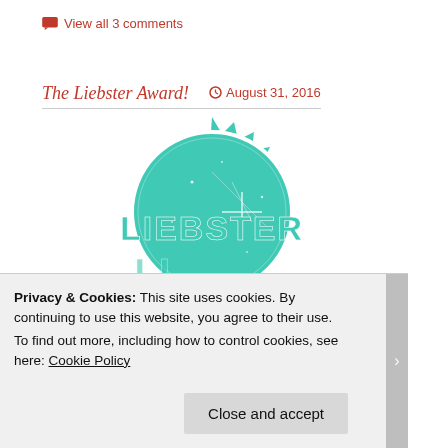View all 3 comments
The Liebster Award!
August 31, 2016
[Figure (illustration): Teal/turquoise Liebster Award badge with starburst border, circular design, and 'LIEBSTER' text prominently displayed with sparkle effects]
Privacy & Cookies: This site uses cookies. By continuing to use this website, you agree to their use. To find out more, including how to control cookies, see here: Cookie Policy
Close and accept